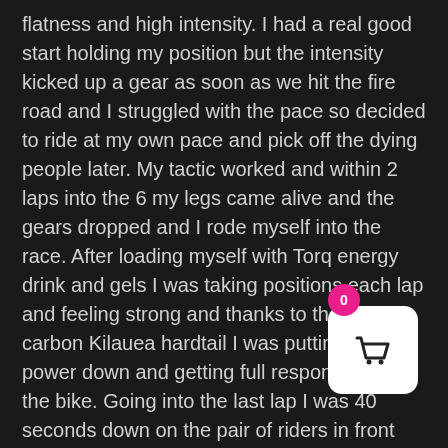flatness and high intensity. I had a real good start holding my position but the intensity kicked up a gear as soon as we hit the fire road and I struggled with the pace so decided to ride at my own pace and pick off the dying people later. My tactic worked and within 2 laps into the 6 my legs came alive and the gears dropped and I rode myself into the race. After loading myself with Torq energy drink and gels I was taking positions each lap and feeling strong and thanks to the new carbon Kilauea hardtail I was putting the power down and getting full response from the bike. Going into the last lap I was 40 seconds down on the pair of riders in front and managed to give it that extra little burst supplied by Torqs' new branded banoffee caffeine gel. As I got closer the riders realized I was chasing and didn't make it easy for me, however by the finish I managed to get the gap down to 10 seconds and to take a respectable 27th position on a flat course
[Figure (other): Shopping cart widget icon with white rounded rectangle background and a dark basket/cart icon, with a pink notification badge showing the number 0]